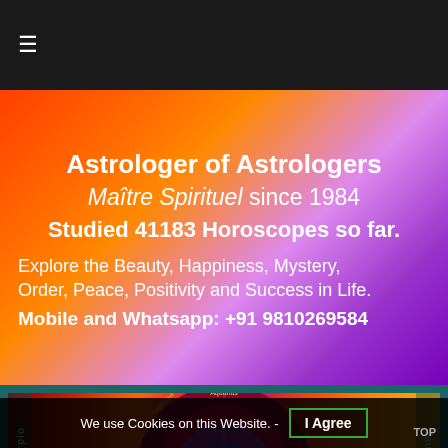☰ (navigation menu bar)
Astrologer of Astrologers
Maître Spirituel since 1984
Studied 41183 Horoscopes so far.
Explore the Beauty, Happiness, Mystery, Order, Peace, Positivity and Success in Life.
Mobile and Whatsapp: +91 9810269584
[Figure (photo): Zodiac wheel astrology chart banner with colorful background showing astrological signs including Scorpio, Aquarius, Taurus, and others with golden zodiac symbols on a red/purple background]
Best Astrologer in San Francisco
We use Cookies on this Website. - I Agree